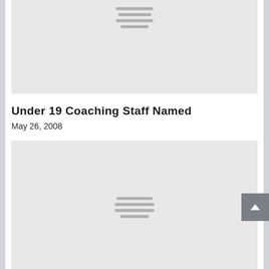[Figure (other): Gray placeholder image with centered hamburger/menu icon lines at top]
Under 19 Coaching Staff Named
May 26, 2008
[Figure (other): Gray placeholder image with centered hamburger/menu icon lines at bottom]